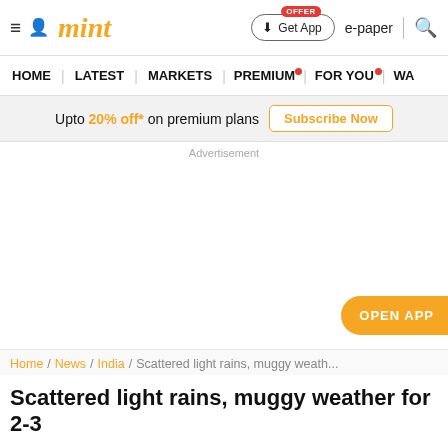mint
HOME | LATEST | MARKETS | PREMIUM | FOR YOU | WA
Upto 20% off* on premium plans  Subscribe Now
Advertisement
OPEN APP
Home / News / India / Scattered light rains, muggy weath...
Scattered light rains, muggy weather for 2-3